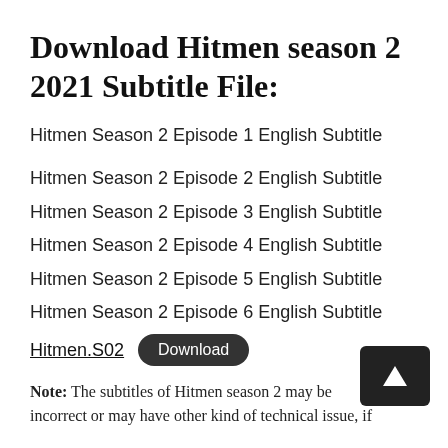Download Hitmen season 2 2021 Subtitle File:
Hitmen Season 2 Episode 1 English Subtitle
Hitmen Season 2 Episode 2 English Subtitle
Hitmen Season 2 Episode 3 English Subtitle
Hitmen Season 2 Episode 4 English Subtitle
Hitmen Season 2 Episode 5 English Subtitle
Hitmen Season 2 Episode 6 English Subtitle
Hitmen.S02  Download
Note: The subtitles of Hitmen season 2 may be incorrect or may have other kind of technical issue, if